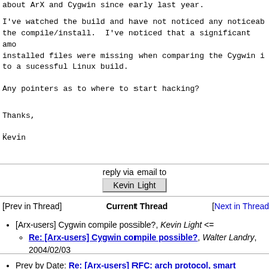about ArX and Cygwin since early last year.
I've watched the build and have not noticed any noticeable problems with the compile/install.  I've noticed that a significant amount of the installed files were missing when comparing the Cygwin install to a sucessful Linux build.
Any pointers as to where to start hacking?
Thanks,
Kevin
reply via email to
Kevin Light
[Prev in Thread]    Current Thread    [Next in Thread]
[Arx-users] Cygwin compile possible?, Kevin Light <=
Re: [Arx-users] Cygwin compile possible?, Walter Landry, 2004/02/03
Prev by Date: Re: [Arx-users] RFC: arch protocol, smart